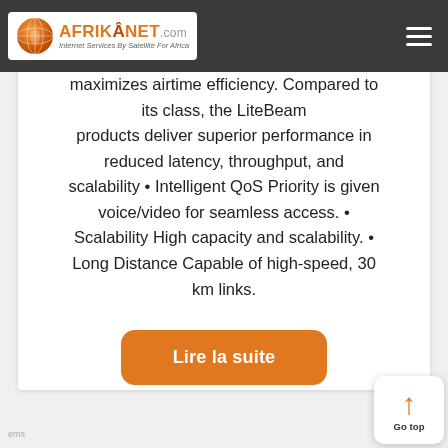AFRIKANET.com — Internet Services By Satellite For Africa
maximizes airtime efficiency. Compared to its class, the LiteBeam products deliver superior performance in reduced latency, throughput, and scalability • Intelligent QoS Priority is given voice/video for seamless access. • Scalability High capacity and scalability. • Long Distance Capable of high-speed, 30 km links.
Lire la suite